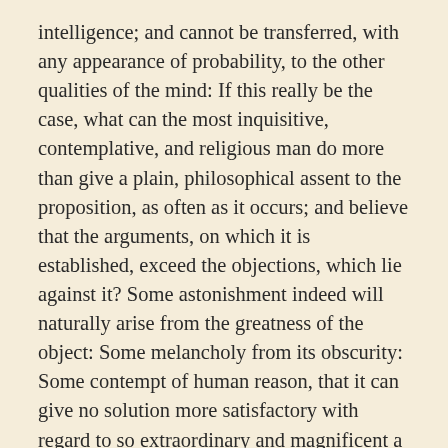intelligence; and cannot be transferred, with any appearance of probability, to the other qualities of the mind: If this really be the case, what can the most inquisitive, contemplative, and religious man do more than give a plain, philosophical assent to the proposition, as often as it occurs; and believe that the arguments, on which it is established, exceed the objections, which lie against it? Some astonishment indeed will naturally arise from the greatness of the object: Some melancholy from its obscurity: Some contempt of human reason, that it can give no solution more satisfactory with regard to so extraordinary and magnificent a question. But believe me, Cleanthes, the most natural sentiment, which a well-disposed mind will feel on this occasion, is a longing desire and expectation, that heaven would be pleased to dissipate, at least alleviate